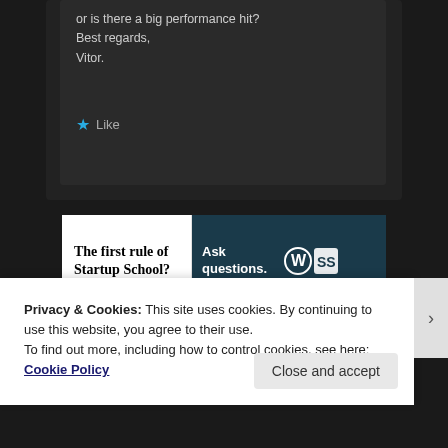or is there a big performance hit?
Best regards,
Vitor.
★ Like
[Figure (screenshot): Advertisement banner: 'The first rule of Startup School?' with 'Ask questions.' on dark background with WordPress logo]
REPORT THIS AD
Privacy & Cookies: This site uses cookies. By continuing to use this website, you agree to their use.
To find out more, including how to control cookies, see here: Cookie Policy
Close and accept